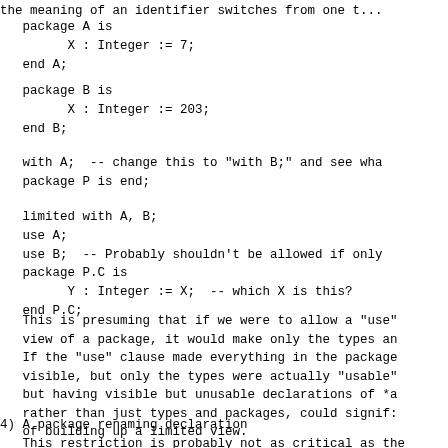the meaning of an identifier switches from one t...
package A is
      X : Integer := 7;
end A;
package B is
      X : Integer := 203;
end B;
with A;  -- change this to "with B;" and see wha
package P is end;
limited with A, B;
use A;
use B;  -- Probably shouldn't be allowed if only
package P.C is
      Y : Integer := X;  -- which X is this?
end P.C;
This is presuming that if we were to allow a "use" view of a package, it would make only the types and If the "use" clause made everything in the package visible, but only the types were actually "usable" but having visible but unusable declarations of *a rather than just types and packages, could signif of building up a limited view.
4) A package renaming declaration
   This restriction is probably not as critical as the
   The problem comes when someone from outside the u...